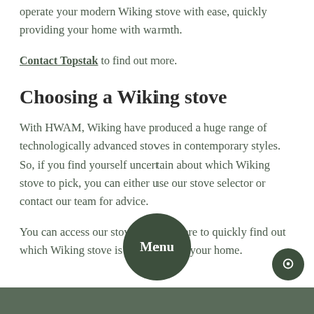operate your modern Wiking stove with ease, quickly providing your home with warmth.
Contact Topstak to find out more.
Choosing a Wiking stove
With HWAM, Wiking have produced a huge range of technologically advanced stoves in contemporary styles. So, if you find yourself uncertain about which Wiking stove to pick, you can either use our stove selector or contact our team for advice.
You can access our stove selector here to quickly find out which Wiking stove is best suited to your home.